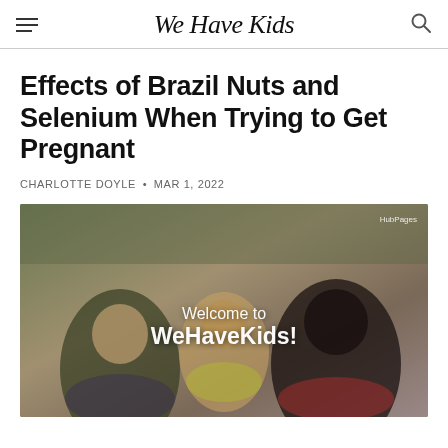We Have Kids
Effects of Brazil Nuts and Selenium When Trying to Get Pregnant
CHARLOTTE DOYLE • MAR 1, 2022
[Figure (photo): A smiling family of three — a man, a child, and a woman — with overlay text reading 'Welcome to WeHaveKids!' and a HubPages watermark in the top right corner.]